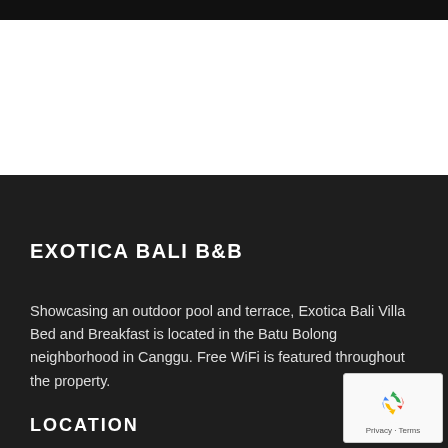[Figure (photo): Dark header image bar at the top of the page]
EXOTICA BALI B&B
Showcasing an outdoor pool and terrace, Exotica Bali Villa Bed and Breakfast is located in the Batu Bolong neighborhood in Canggu. Free WiFi is featured throughout the property.
LOCATION
[Figure (logo): Google reCAPTCHA badge with recycle-arrow icon and Privacy · Terms text]